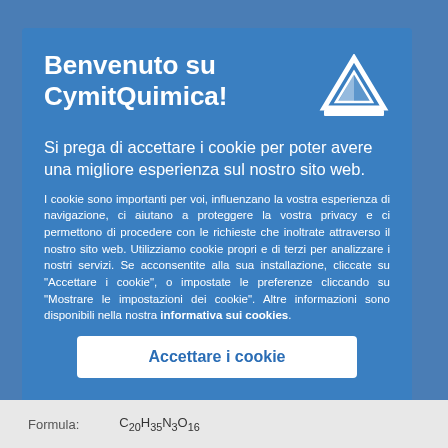Benvenuto su CymitQuimica!
Si prega di accettare i cookie per poter avere una migliore esperienza sul nostro sito web.
I cookie sono importanti per voi, influenzano la vostra esperienza di navigazione, ci aiutano a proteggere la vostra privacy e ci permettono di procedere con le richieste che inoltrate attraverso il nostro sito web. Utilizziamo cookie propri e di terzi per analizzare i nostri servizi. Se acconsentite alla sua installazione, cliccate su "Accettare i cookie", o impostate le preferenze cliccando su "Mostrare le impostazioni dei cookie". Altre informazioni sono disponibili nella nostra informativa sui cookies.
Accettare i cookie
Formula: C20H35N3O16